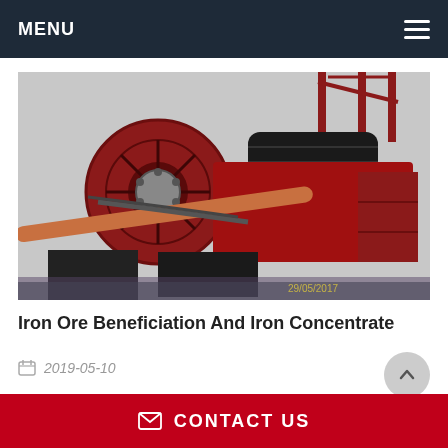MENU
[Figure (photo): Industrial iron ore beneficiation machine with a large red rotating drum, conveyor belt, and piping equipment photographed outdoors. Timestamp visible: 2019-05-17]
Iron Ore Beneficiation And Iron Concentrate
2019-05-10
CONTACT US